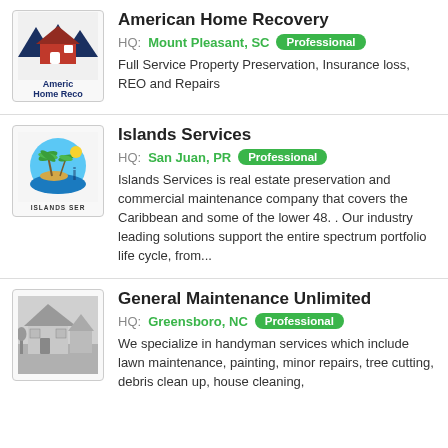[Figure (logo): American Home Recovery logo with mountain/house icon and text]
American Home Recovery
HQ: Mount Pleasant, SC Professional
Full Service Property Preservation, Insurance loss, REO and Repairs
[Figure (logo): Islands Services logo with palm tree and water scene]
Islands Services
HQ: San Juan, PR Professional
Islands Services is real estate preservation and commercial maintenance company that covers the Caribbean and some of the lower 48. . Our industry leading solutions support the entire spectrum portfolio life cycle, from...
[Figure (logo): General Maintenance Unlimited logo with grayscale house illustration]
General Maintenance Unlimited
HQ: Greensboro, NC Professional
We specialize in handyman services which include lawn maintenance, painting, minor repairs, tree cutting, debris clean up, house cleaning,